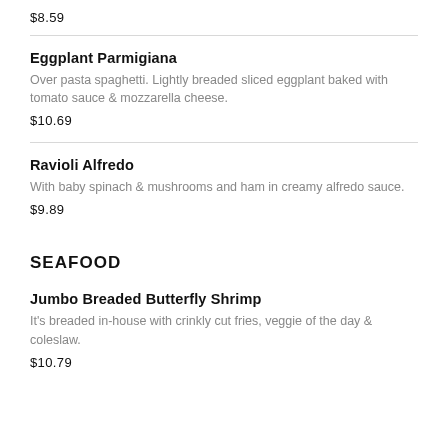$8.59
Eggplant Parmigiana
Over pasta spaghetti. Lightly breaded sliced eggplant baked with tomato sauce & mozzarella cheese.
$10.69
Ravioli Alfredo
With baby spinach & mushrooms and ham in creamy alfredo sauce.
$9.89
SEAFOOD
Jumbo Breaded Butterfly Shrimp
It's breaded in-house with crinkly cut fries, veggie of the day & coleslaw.
$10.79